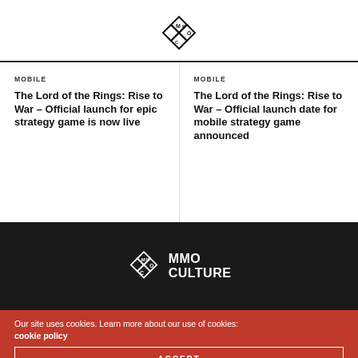MMO Culture logo
MOBILE
The Lord of the Rings: Rise to War – Official launch for epic strategy game is now live
MOBILE
The Lord of the Rings: Rise to War – Official launch date for mobile strategy game announced
[Figure (logo): MMO Culture logo in white on dark background]
Our site uses cookies. Learn more about our use of cookies: cookie policy
ACCEPT